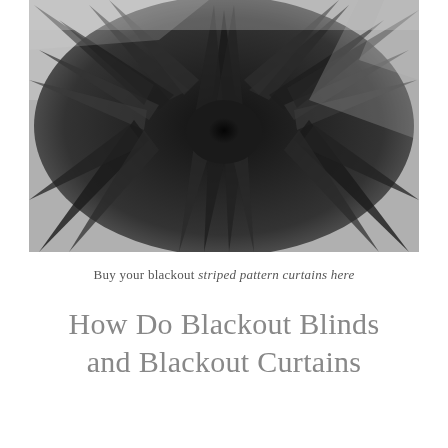[Figure (photo): Black and white photograph of dark tropical or exotic leaves/feathers radiating outward from a central dark point, with dramatic contrast between dark and light areas, giving an abstract exploding or starburst effect.]
Buy your blackout striped pattern curtains here
How Do Blackout Blinds and Blackout Curtains